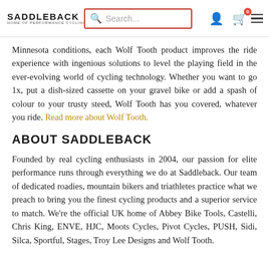SADDLEBACK | HOME OF PERFORMANCE CYCLING | Search... | [user icon] [cart icon] [menu icon]
Minnesota conditions, each Wolf Tooth product improves the ride experience with ingenious solutions to level the playing field in the ever-evolving world of cycling technology. Whether you want to go 1x, put a dish-sized cassette on your gravel bike or add a spash of colour to your trusty steed, Wolf Tooth has you covered, whatever you ride. Read more about Wolf Tooth.
ABOUT SADDLEBACK
Founded by real cycling enthusiasts in 2004, our passion for elite performance runs through everything we do at Saddleback. Our team of dedicated roadies, mountain bikers and triathletes practice what we preach to bring you the finest cycling products and a superior service to match. We're the official UK home of Abbey Bike Tools, Castelli, Chris King, ENVE, HJC, Moots Cycles, Pivot Cycles, PUSH, Sidi, Silca, Sportful, Stages, Troy Lee Designs and Wolf Tooth.